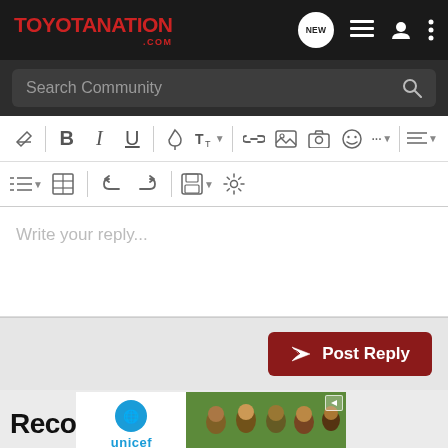TOYOTANATION .COM
Search Community
[Figure (screenshot): Rich text editor toolbar with formatting buttons: eraser, Bold, Italic, Underline, paint drop, font size, link, image, camera, emoji, more, alignment; second row: list, table, undo, redo, save, settings]
Write your reply...
Post Reply
Reco
[Figure (photo): UNICEF advertisement banner showing unicef logo and children photo]